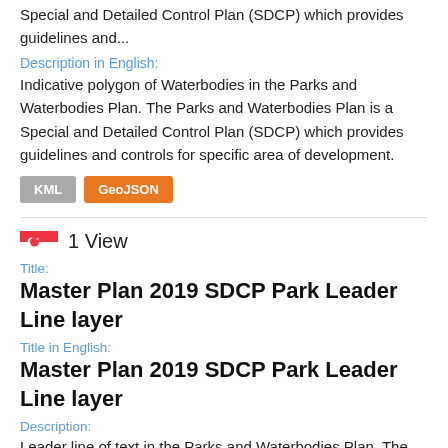Special and Detailed Control Plan (SDCP) which provides guidelines and...
Description in English:
Indicative polygon of Waterbodies in the Parks and Waterbodies Plan. The Parks and Waterbodies Plan is a Special and Detailed Control Plan (SDCP) which provides guidelines and controls for specific area of development.
KML  GeoJSON
1 View
Title:
Master Plan 2019 SDCP Park Leader Line layer
Title in English:
Master Plan 2019 SDCP Park Leader Line layer
Description:
Leader line of text in the Parks and Waterbodies Plan. The Parks and Waterbodies Plan is a Special and Detailed Control Plan (SDCP) which provides guidelines and controls for...